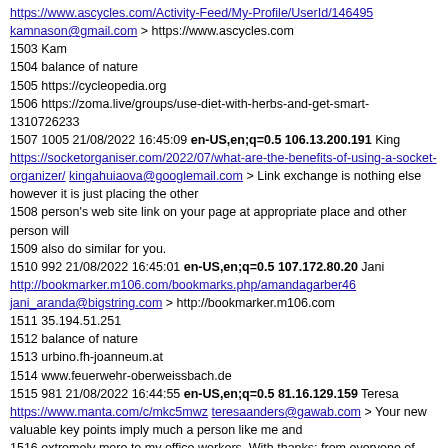https://www.ascycles.com/Activity-Feed/My-Profile/UserId/146495 kamnason@gmail.com > https://www.ascycles.com
1503 Kam
1504 balance of nature
1505 https://cycleopedia.org
1506 https://zoma.live/groups/use-diet-with-herbs-and-get-smart-1310726233
1507 1005 21/08/2022 16:45:09 en-US,en;q=0.5 106.13.200.191 King https://socketorganiser.com/2022/07/what-are-the-benefits-of-using-a-socket-organizer/ kingahuiaova@googlemail.com > Link exchange is nothing else however it is just placing the other
1508 person's web site link on your page at appropriate place and other person will
1509 also do similar for you.
1510 992 21/08/2022 16:45:01 en-US,en;q=0.5 107.172.80.20 Jani http://bookmarker.m106.com/bookmarks.php/amandagarber46 jani_aranda@bigstring.com > http://bookmarker.m106.com
1511 35.194.51.251
1512 balance of nature
1513 urbino.fh-joanneum.at
1514 www.feuerwehr-oberweissbach.de
1515 981 21/08/2022 16:44:55 en-US,en;q=0.5 81.16.129.159 Teresa https://www.manta.com/c/mkc5mwz teresaanders@gawab.com > Your new valuable key points imply much a person like me and
1516 extremely more to my office workers. With thanks; from everyone of
1517 us.
1518 980 21/08/2022 16:44:55 en-US,en;q=0.9,hi;q=0.8 64.145.79.213 https://www.proko.com/profile/crypto568436536/activity > Ciao